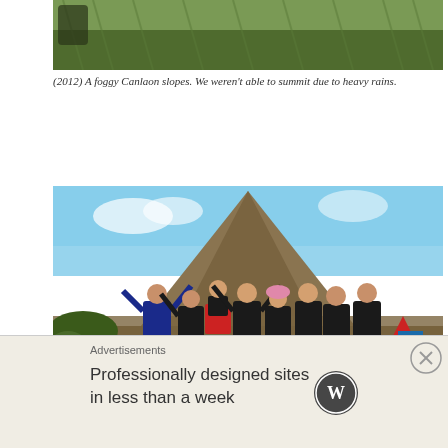[Figure (photo): Cropped top portion of a foggy mountain slope with green grass]
(2012) A foggy Canlaon slopes. We weren't able to summit due to heavy rains.
[Figure (photo): Group of hikers posing in front of a clear volcanic cone peak of Canlaon, with a red tent visible at the right side]
(2015) A super clear view of Canlaon – super blessed after all the fogginess on our 1st trek.
5. Trekking is not about how many peaks you've been to. It is about
Advertisements
Professionally designed sites in less than a week